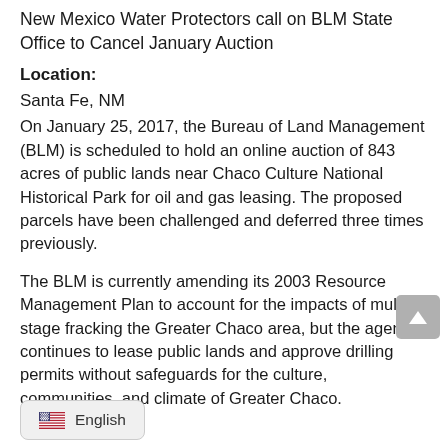New Mexico Water Protectors call on BLM State Office to Cancel January Auction
Location:
Santa Fe, NM
On January 25, 2017, the Bureau of Land Management (BLM) is scheduled to hold an online auction of 843 acres of public lands near Chaco Culture National Historical Park for oil and gas leasing. The proposed parcels have been challenged and deferred three times previously.
The BLM is currently amending its 2003 Resource Management Plan to account for the impacts of multi-stage fracking the Greater Chaco area, but the agency continues to lease public lands and approve drilling permits without safeguards for the culture, communities, and climate of Greater Chaco.
[Figure (other): English language selector button with US flag emoji]